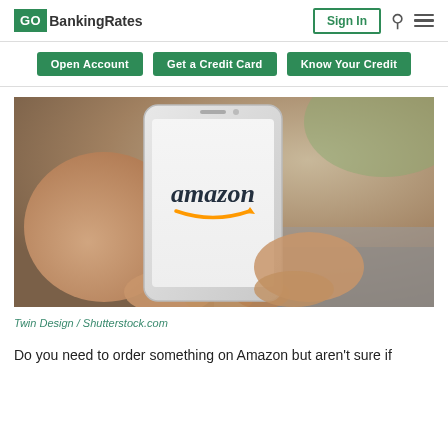GO BankingRates | Sign In
Open Account | Get a Credit Card | Know Your Credit
[Figure (photo): Person holding a white smartphone displaying the Amazon logo and smile arrow, photographed close-up against a blurred background.]
Twin Design / Shutterstock.com
Do you need to order something on Amazon but aren't sure if